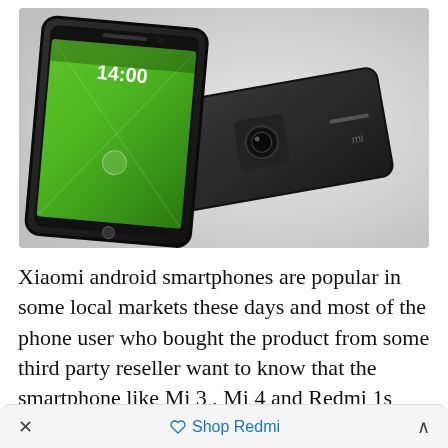[Figure (photo): Two Xiaomi smartphones shown from front and back angles. The front-facing phone displays a green wallpaper with time 14:00. The back of another phone is visible in the foreground.]
Xiaomi android smartphones are popular in some local markets these days and most of the phone user who bought the product from some third party reseller want to know that the smartphone like Mi 3 , Mi 4 and Redmi 1s they bought are real or fake. So lets take a look how
× 🏷 Shop Redmi ∧